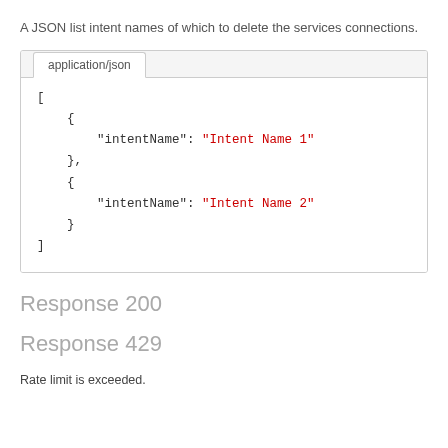A JSON list intent names of which to delete the services connections.
[Figure (screenshot): Code block with tab labeled 'application/json' showing a JSON array with two objects each containing an 'intentName' key with values 'Intent Name 1' and 'Intent Name 2'.]
Response 200
Response 429
Rate limit is exceeded.